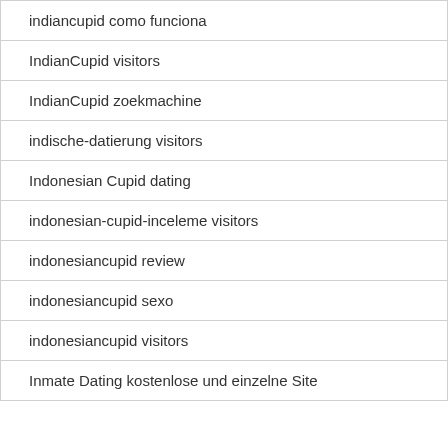indiancupid como funciona
IndianCupid visitors
IndianCupid zoekmachine
indische-datierung visitors
Indonesian Cupid dating
indonesian-cupid-inceleme visitors
indonesiancupid review
indonesiancupid sexo
indonesiancupid visitors
Inmate Dating kostenlose und einzelne Site